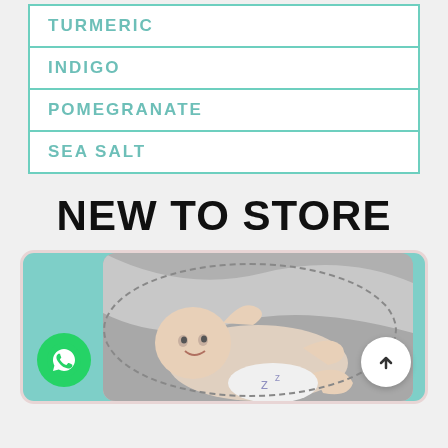TURMERIC
INDIGO
POMEGRANATE
SEA SALT
NEW TO STORE
[Figure (photo): Baby lying down smiling, inside a dashed oval frame on a teal background, with WhatsApp button bottom-left and up-arrow button bottom-right]